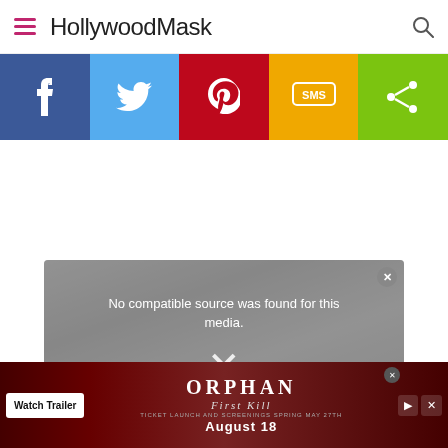HollywoodMask
[Figure (infographic): Social sharing bar with Facebook, Twitter, Pinterest, SMS, and Share buttons in color blocks]
[Figure (screenshot): Video player showing 'No compatible source was found for this media.' with an X icon]
[Figure (infographic): Advertisement banner for Orphan: First Kill - Watch Trailer - August 18]